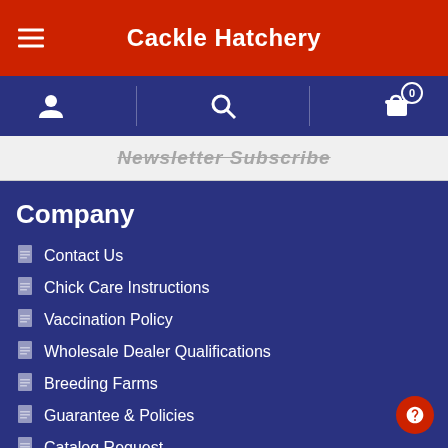Cackle Hatchery
[Figure (screenshot): Website navigation header with hamburger menu, Cackle Hatchery title in red bar, blue icon bar with account, search, and cart icons, and a newsletter subscribe bar]
Company
Contact Us
Chick Care Instructions
Vaccination Policy
Wholesale Dealer Qualifications
Breeding Farms
Guarantee & Policies
Catalog Request
Poultry Breed Finder Index Page
Learning Center
Search Terms